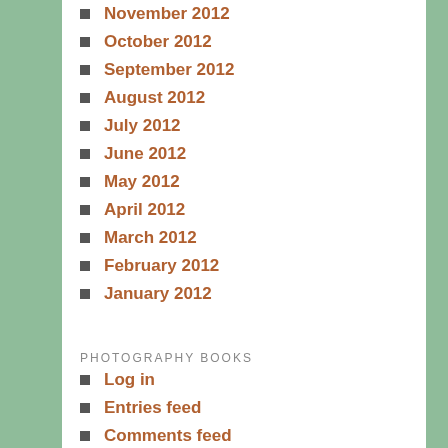November 2012
October 2012
September 2012
August 2012
July 2012
June 2012
May 2012
April 2012
March 2012
February 2012
January 2012
PHOTOGRAPHY BOOKS
Log in
Entries feed
Comments feed
WordPress.org
CHECK OUT MY PHOTOGRAPHY BOOKS...